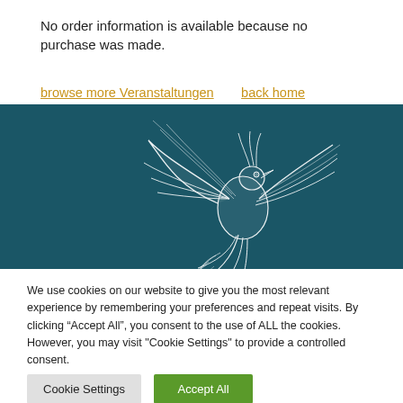No order information is available because no purchase was made.
browse more Veranstaltungen   back home
[Figure (illustration): Dark teal banner with a white decorative phoenix bird illustration in the center]
We use cookies on our website to give you the most relevant experience by remembering your preferences and repeat visits. By clicking "Accept All", you consent to the use of ALL the cookies. However, you may visit "Cookie Settings" to provide a controlled consent.
Cookie Settings   Accept All